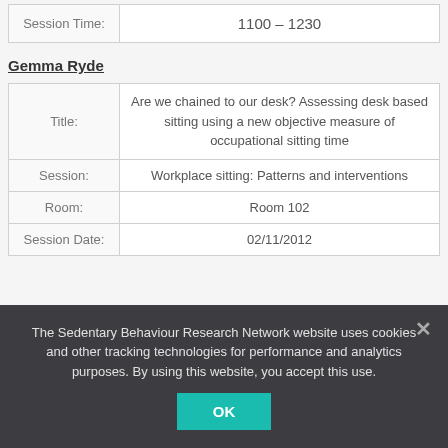| Session Time: | 1100 – 1230 |
Gemma Ryde
| Title: | Are we chained to our desk? Assessing desk based sitting using a new objective measure of occupational sitting time |
| Session: | Workplace sitting: Patterns and interventions |
| Room: | Room 102 |
| Session Date: | 02/11/2012 |
The Sedentary Behaviour Research Network website uses cookies and other tracking technologies for performance and analytics purposes. By using this website, you accept this use.